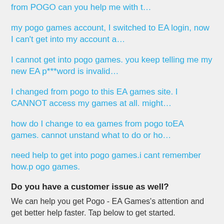from POGO can you help me with t…
my pogo games account, I switched to EA login, now I can't get into my account a…
I cannot get into pogo games. you keep telling me my new EA p***word is invalid…
I changed from pogo to this EA games site. I CANNOT access my games at all. might…
how do I change to ea games from pogo toEA games. cannot unstand what to do or ho…
need help to get into pogo games.i cant remember how.p ogo games.
Do you have a customer issue as well?
We can help you get Pogo - EA Games's attention and get better help faster. Tap below to get started.